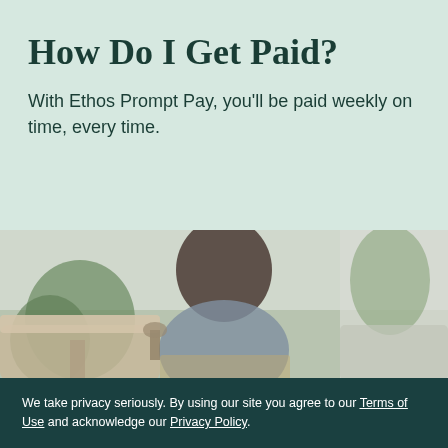How Do I Get Paid?
With Ethos Prompt Pay, you'll be paid weekly on time, every time.
[Figure (photo): A woman with dark hair sitting down, working or writing, in a warm blurred indoor setting with plants and a couch in the background.]
We take privacy seriously. By using our site you agree to our Terms of Use and acknowledge our Privacy Policy.